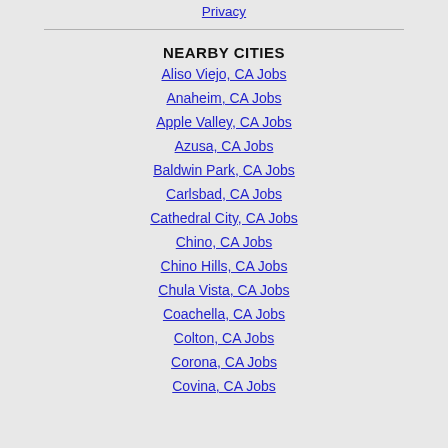Privacy
NEARBY CITIES
Aliso Viejo, CA Jobs
Anaheim, CA Jobs
Apple Valley, CA Jobs
Azusa, CA Jobs
Baldwin Park, CA Jobs
Carlsbad, CA Jobs
Cathedral City, CA Jobs
Chino, CA Jobs
Chino Hills, CA Jobs
Chula Vista, CA Jobs
Coachella, CA Jobs
Colton, CA Jobs
Corona, CA Jobs
Covina, CA Jobs